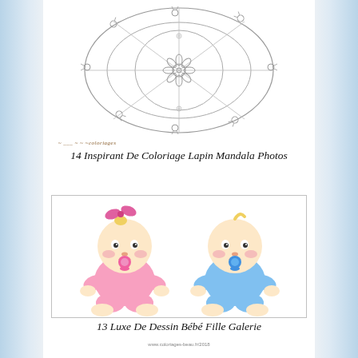[Figure (illustration): A circular mandala coloring page with rabbit/bunny motifs arranged symmetrically around a central flower, with geometric lines forming the mandala structure. Line art in gray on white background.]
14 Inspirant De Coloriage Lapin Mandala Photos
[Figure (illustration): Two cartoon baby illustrations side by side: a baby girl in pink outfit with pink bow and pink pacifier on the left, and a baby boy in blue outfit with blue pacifier on the right. Both are sitting and have large round heads typical of baby cartoon style.]
13 Luxe De Dessin Bébé Fille Galerie
www.coloriages-beau.fr/2018